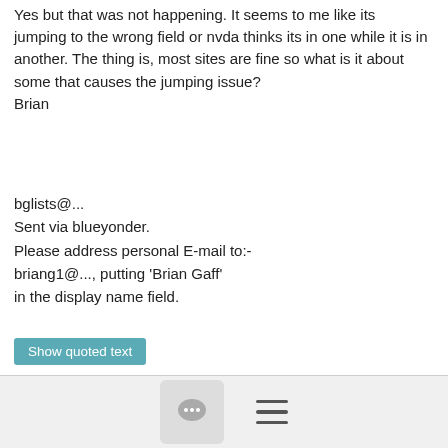Yes but that was not happening. It seems to me like its jumping to the wrong field or nvda thinks its in one while it is in another. The thing is, most sites are fine so what is it about some that causes the jumping issue?
Brian
bglists@...
Sent via blueyonder.
Please address personal E-mail to:-
briang1@..., putting 'Brian Gaff'
in the display name field.
Show quoted text
≡ More
Re: problem with the blind mice mart site and nvda
Brian's Mail list account
8/31/18